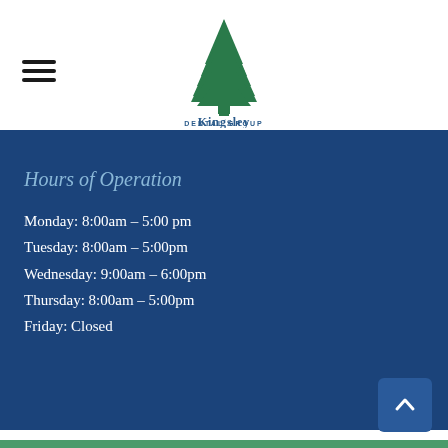[Figure (logo): Kingsley Dental Group logo — green tree icon above the text 'Kingsley Dental Group']
Hours of Operation
Monday: 8:00am – 5:00 pm
Tuesday: 8:00am – 5:00pm
Wednesday: 9:00am – 6:00pm
Thursday: 8:00am – 5:00pm
Friday: Closed